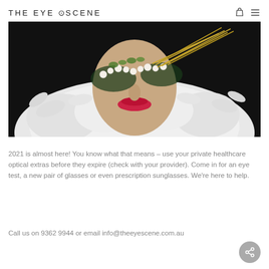THE EYE SCENE
[Figure (photo): Fashion photograph of a woman with ornate floral/pearl embellished sunglasses and a white feathered boa/collar, dark background, red lips]
2021 is almost here! You know what that means – use your private healthcare optical extras before they expire (check with your provider). Come in for an eye test, a new pair of glasses or even prescription sunglasses. We're here to help.
Call us on 9362 9944 or email info@theeyescene.com.au